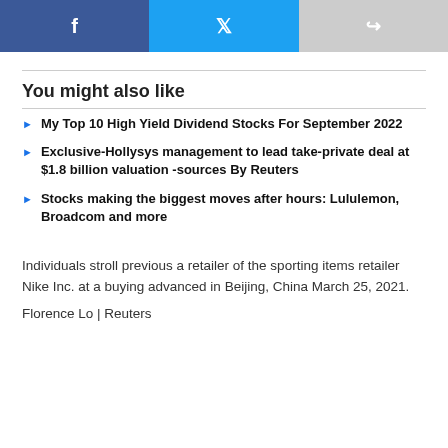[Figure (other): Social media share buttons: Facebook (blue), Twitter (light blue), Share/forward (grey)]
You might also like
My Top 10 High Yield Dividend Stocks For September 2022
Exclusive-Hollysys management to lead take-private deal at $1.8 billion valuation -sources By Reuters
Stocks making the biggest moves after hours: Lululemon, Broadcom and more
Individuals stroll previous a retailer of the sporting items retailer Nike Inc. at a buying advanced in Beijing, China March 25, 2021.
Florence Lo | Reuters